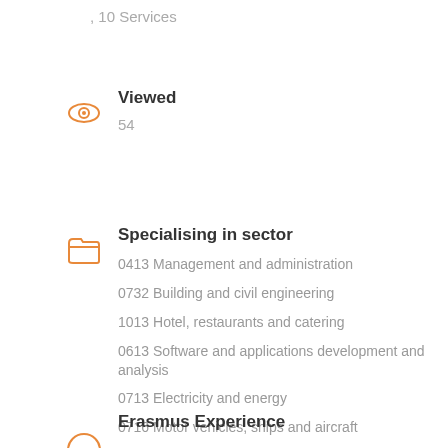, 10 Services
Viewed
54
Specialising in sector
0413 Management and administration
0732 Building and civil engineering
1013 Hotel, restaurants and catering
0613 Software and applications development and analysis
0713 Electricity and energy
0716 Motor vehicles, ships and aircraft
0722 Materials (glass, paper, plastic and wood)
Erasmus Experience